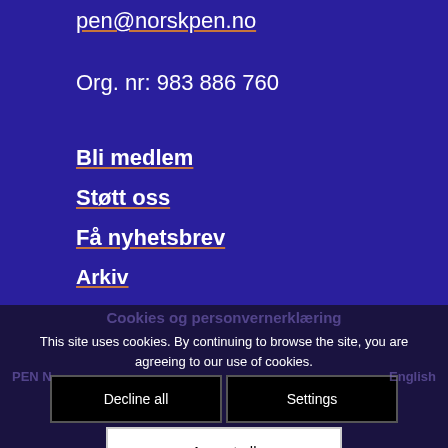pen@norskpen.no
Org. nr: 983 886 760
Bli medlem
Støtt oss
Få nyhetsbrev
Arkiv
Norsk PENs fond for ytringsfrihet
Min side
Cookies og personvernerklæring
This site uses cookies. By continuing to browse the site, you are agreeing to our use of cookies.
Decline all
Settings
Accept all